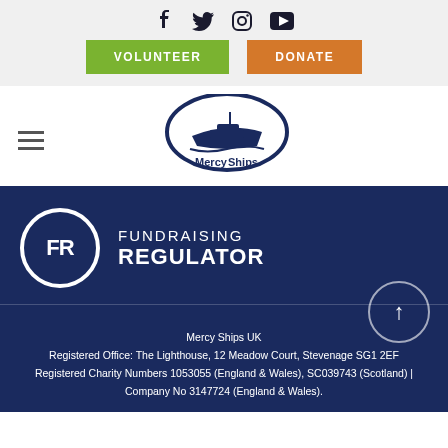Social icons: Facebook, Twitter, Instagram, YouTube
VOLUNTEER | DONATE
[Figure (logo): Mercy Ships logo with ship illustration and text]
[Figure (logo): Fundraising Regulator badge with FR circle and text FUNDRAISING REGULATOR]
Mercy Ships UK
Registered Office: The Lighthouse, 12 Meadow Court, Stevenage SG1 2EF
Registered Charity Numbers 1053055 (England & Wales), SC039743 (Scotland) | Company No 3147724 (England & Wales).